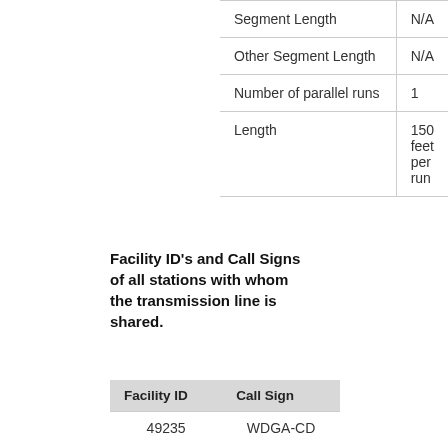|  |  |
| --- | --- |
| Segment Length | N/A |
| Other Segment Length | N/A |
| Number of parallel runs | 1 |
| Length | 150 feet per run |
Facility ID's and Call Signs of all stations with whom the transmission line is shared.
| Facility ID | Call Sign |
| --- | --- |
| 49235 | WDGA-CD |